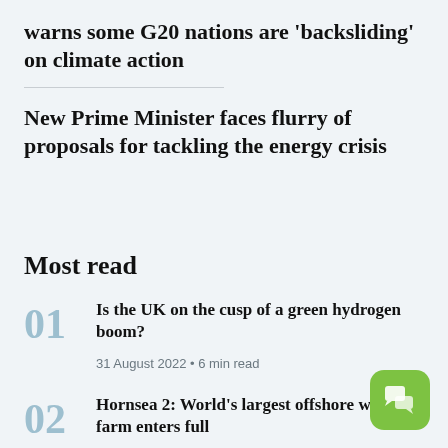warns some G20 nations are 'backsliding' on climate action
New Prime Minister faces flurry of proposals for tackling the energy crisis
Most read
01 Is the UK on the cusp of a green hydrogen boom? 31 August 2022 • 6 min read
02 Hornsea 2: World's largest offshore wind farm enters full